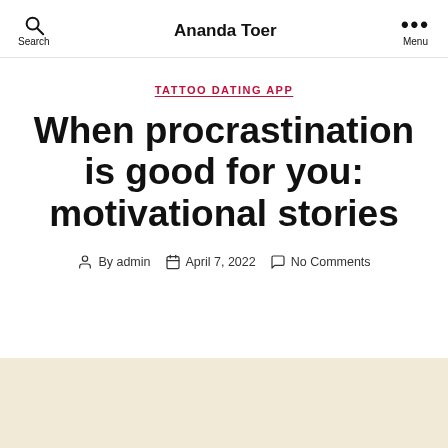Ananda Toer
TATTOO DATING APP
When procrastination is good for you: motivational stories
By admin  April 7, 2022  No Comments